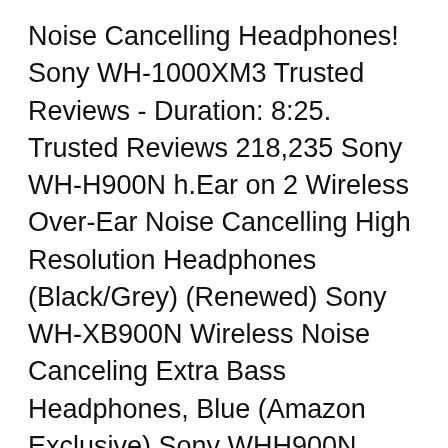Noise Cancelling Headphones! Sony WH-1000XM3 Trusted Reviews - Duration: 8:25. Trusted Reviews 218,235 Sony WH-H900N h.Ear on 2 Wireless Over-Ear Noise Cancelling High Resolution Headphones (Black/Grey) (Renewed) Sony WH-XB900N Wireless Noise Canceling Extra Bass Headphones, Blue (Amazon Exclusive) Sony WHH900N Hear On 2 Wireless Overear Noise Cancelling High Resolution Headphones, 2.4 Ounce
Sony WH-H900N Noise Cancelling Headphones Unboxing & Review. Discover the WH-H900N h.ear on 2 Wireless Noise-Canceling Headphones from Sony & explore all the Headband